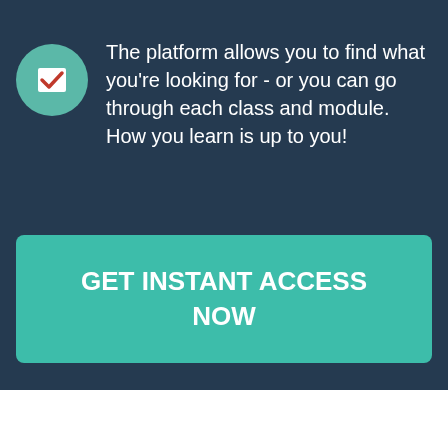[Figure (illustration): Teal circle with a checkbox icon (red checkmark on white square background)]
The platform allows you to find what you're looking for - or you can go through each class and module. How you learn is up to you!
GET INSTANT ACCESS NOW